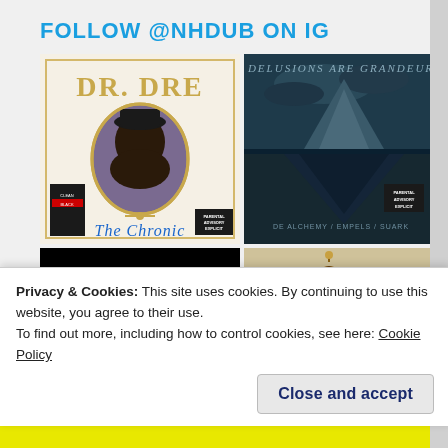FOLLOW @NHDUB ON IG
[Figure (photo): Dr. Dre - The Chronic album cover, white background with gold ornate frame portrait of Dr. Dre and text 'The Chronic']
[Figure (photo): Delusions Are Grandeur album cover, dark teal/navy background with iceberg imagery and text 'DELUSIONS ARE GRANDEUR']
[Figure (photo): Black album cover with blue text 'NHWWWW.NET']
[Figure (photo): Beige/tan album cover with illustrated figure holding a gun, Kendrick Lamar style artwork]
Privacy & Cookies: This site uses cookies. By continuing to use this website, you agree to their use.
To find out more, including how to control cookies, see here: Cookie Policy
Close and accept